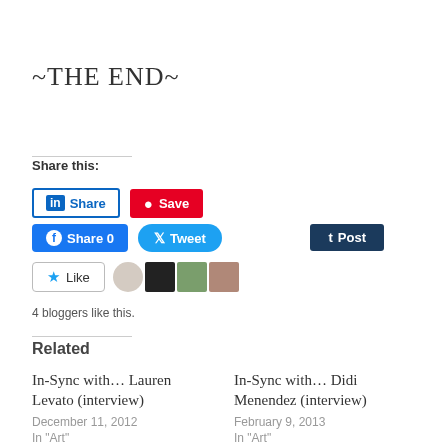~THE END~
Share this:
[Figure (screenshot): Social share buttons: LinkedIn Share, Pinterest Save, Facebook Share 0, Twitter Tweet, Tumblr Post, Like button with 4 blogger avatars]
4 bloggers like this.
Related
In-Sync with… Lauren Levato (interview)
December 11, 2012
In "Art"
In-Sync with… Didi Menendez (interview)
February 9, 2013
In "Art"